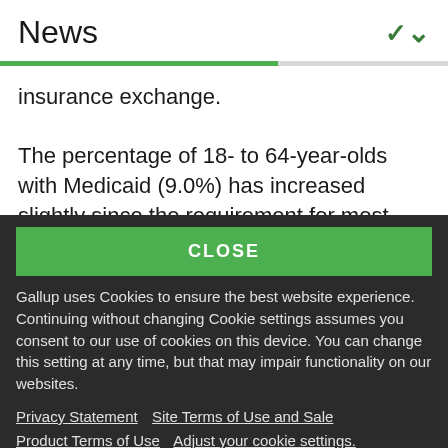News
insurance exchange.
The percentage of 18- to 64-year-olds with Medicaid (9.0%) has increased slightly since the requirement for most Americans to carry health
CLOSE
Gallup uses Cookies to ensure the best website experience. Continuing without changing Cookie settings assumes you consent to our use of cookies on this device. You can change this setting at any time, but that may impair functionality on our websites.
Privacy Statement   Site Terms of Use and Sale
Product Terms of Use   Adjust your cookie settings.